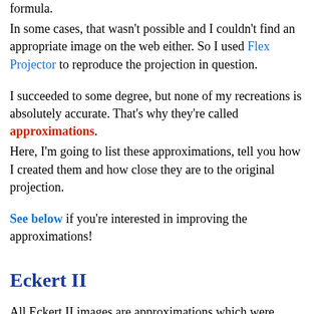formula.
In some cases, that wasn't possible and I couldn't find an appropriate image on the web either. So I used Flex Projector to reproduce the projection in question.
I succeeded to some degree, but none of my recreations is absolutely accurate. That's why they're called approximations.
Here, I'm going to list these approximations, tell you how I created them and how close they are to the original projection.
See below if you're interested in improving the approximations!
Eckert II
All Eckert II images are approximations which were generated in Flex Projector from the Eckert I by